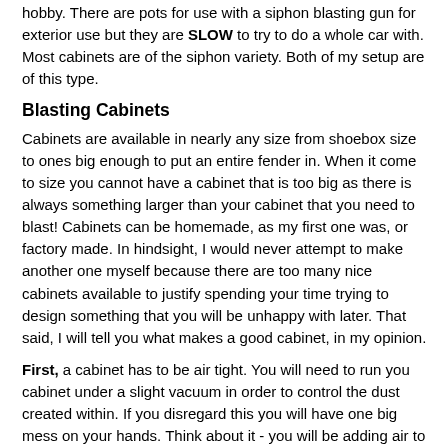hobby.  There are pots for use with a siphon blasting gun for exterior use but they are SLOW to try to do a whole car with.  Most cabinets are of the siphon variety.  Both of my setup are of this type.
Blasting Cabinets
Cabinets are available in nearly any size from shoebox size to ones big enough to put an entire fender in.  When it come to size you cannot have a cabinet that is too big as there is always something larger than your cabinet that you need to blast!  Cabinets can be homemade, as my first one was, or factory made.  In hindsight, I would never attempt to make another one myself because there are too many nice cabinets available to justify spending your time trying to design something that you will be unhappy with later.  That said, I will tell you what makes a good cabinet, in my opinion.
First, a cabinet has to be air tight.  You will need to run you cabinet under a slight vacuum in order to control the dust created within.  If you disregard this you will have one big mess on your hands.  Think about it - you will be adding air to a box at a rate of 10-15 scfm.  That air has to go somewhere after it get there.  If you have not provided for this air and dust will emerge from ever crack that you knew about and a bunch that you didn't.  Believe me, I've been there!
Second, your box will have to have a funnel shaped bottom to be able to feed your blaster.  Just a little slope won't do.  Sides need to be at least 45 degrees.  The only time that grit will flow like water is when you have a hole and you are trying to keep the grit inside than it will go all over the